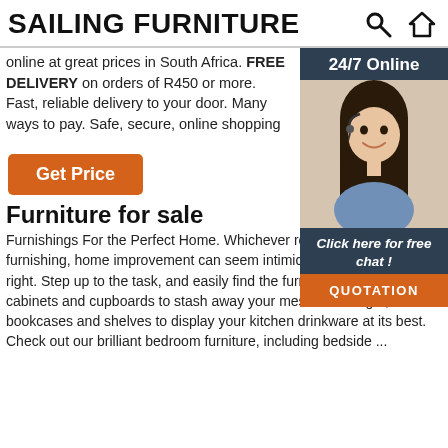SAILING FURNITURE
online at great prices in South Africa. FREE DELIVERY on orders of R450 or more. Fast, reliable delivery to your door. Many ways to pay. Safe, secure, online shopping
[Figure (photo): Customer service representative woman wearing headset, smiling, in blue shirt. Dark navy sidebar panel with '24/7 Online' label at top, 'Click here for free chat!' text, and orange QUOTATION button.]
Get Price
Furniture for sale
Furnishings For the Perfect Home. Whichever room you are furnishing, home improvement can seem intimidating if you dont do it right. Step up to the task, and easily find the furniture you want, from cabinets and cupboards to stash away your mess out of sight, to bookcases and shelves to display your kitchen drinkware at its best. Check out our brilliant bedroom furniture, including bedside ...